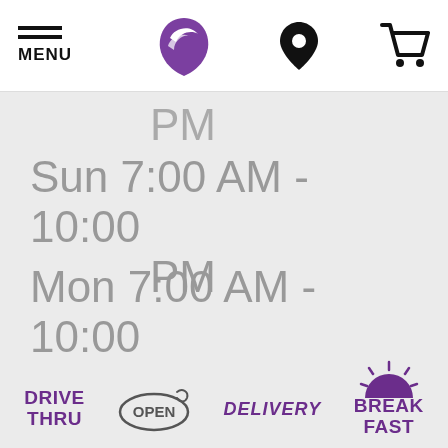[Figure (screenshot): Taco Bell website navigation bar with hamburger menu icon labeled MENU, Taco Bell logo (purple bell), location pin icon, and shopping cart icon]
PM
Sun  7:00 AM - 10:00 PM
Mon  7:00 AM - 10:00 PM
[Figure (logo): Taco Bell service badges: DRIVE THRU, OPEN (with swirl), DELIVERY (italic), BREAK FAST (with sun rays)]